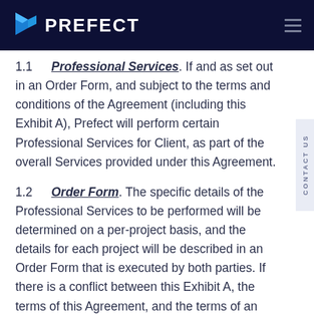PREFECT
1.1 Professional Services. If and as set out in an Order Form, and subject to the terms and conditions of the Agreement (including this Exhibit A), Prefect will perform certain Professional Services for Client, as part of the overall Services provided under this Agreement.
1.2 Order Form. The specific details of the Professional Services to be performed will be determined on a per-project basis, and the details for each project will be described in an Order Form that is executed by both parties. If there is a conflict between this Exhibit A, the terms of this Agreement, and the terms of an Order Form, the terms of this